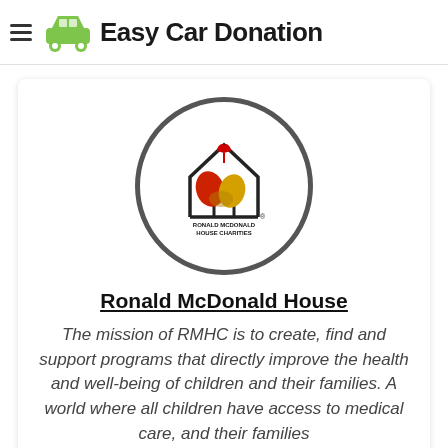Easy Car Donation
[Figure (logo): Ronald McDonald House Charities logo inside a grey circle: two hands (one red gloved, one yellow/tan) clasped together in a house outline shape with a red heart floating above, and text 'Ronald McDonald House Charities' below the hands.]
Ronald McDonald House
The mission of RMHC is to create, find and support programs that directly improve the health and well-being of children and their families. A world where all children have access to medical care, and their families are supported during their time of need.